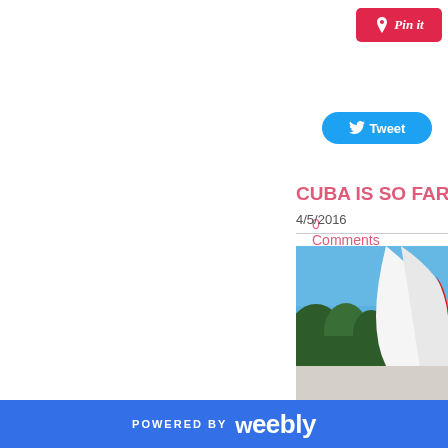[Figure (screenshot): Pinterest 'Pin it' button in red/pink]
[Figure (screenshot): Twitter 'Tweet' button in blue]
0 Comments
CUBA IS SO FAR A
4/5/2016
[Figure (photo): Outdoor photo showing blue sky, trees, and a white curved architectural structure or sail]
POWERED BY weebly